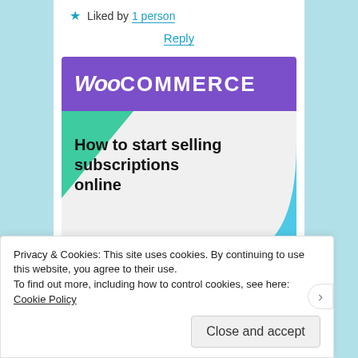Liked by 1 person
Reply
[Figure (illustration): WooCommerce advertisement banner showing the WooCommerce logo in purple, green and blue decorative shapes, with headline 'How to start selling subscriptions online' and a purple 'Start a new store' button.]
Privacy & Cookies: This site uses cookies. By continuing to use this website, you agree to their use.
To find out more, including how to control cookies, see here: Cookie Policy
Close and accept